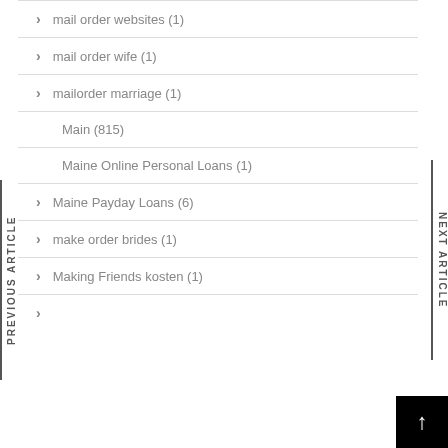mail order websites (1)
mail order wife (1)
mailorder marriage (1)
Main (815)
Maine Online Personal Loans (1)
Maine Payday Loans (6)
make order brides (1)
Making Friends kosten (1)